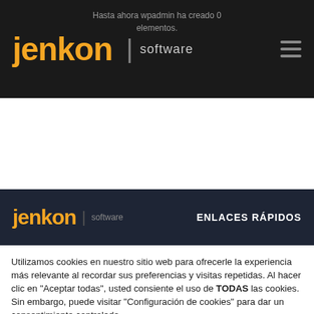Hasta ahora wpadmin ha creado 0 elementos.
[Figure (logo): Jenkon Software logo on dark header bar with hamburger menu icon]
[Figure (logo): Jenkon Software logo on dark footer bar with ENLACES RÁPIDOS text]
Utilizamos cookies en nuestro sitio web para ofrecerle la experiencia más relevante al recordar sus preferencias y visitas repetidas. Al hacer clic en "Aceptar todas", usted consiente el uso de TODAS las cookies. Sin embargo, puede visitar "Configuración de cookies" para dar un consentimiento controlado.
Configuración de las cookies | Aceptar todo